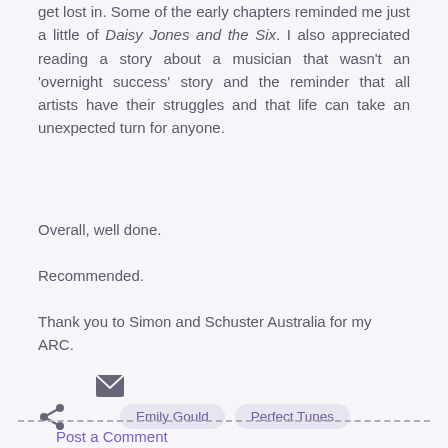get lost in. Some of the early chapters reminded me just a little of Daisy Jones and the Six. I also appreciated reading a story about a musician that wasn't an 'overnight success' story and the reminder that all artists have their struggles and that life can take an unexpected turn for anyone.
Overall, well done.
Recommended.
Thank you to Simon and Schuster Australia for my ARC.
[Figure (other): Email icon (envelope) and share icon]
Emily Gould   Perfect Tunes
Post a Comment